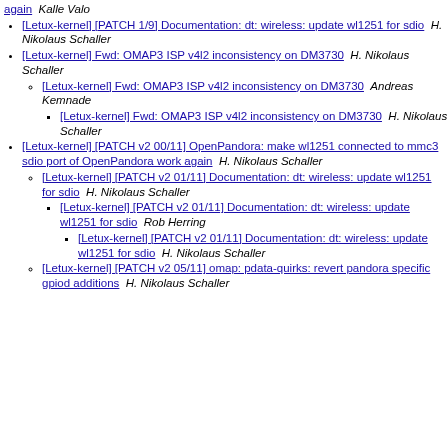again  Kalle Valo
[Letux-kernel] [PATCH 1/9] Documentation: dt: wireless: update wl1251 for sdio  H. Nikolaus Schaller
[Letux-kernel] Fwd: OMAP3 ISP v4l2 inconsistency on DM3730  H. Nikolaus Schaller
[Letux-kernel] Fwd: OMAP3 ISP v4l2 inconsistency on DM3730  Andreas Kemnade
[Letux-kernel] Fwd: OMAP3 ISP v4l2 inconsistency on DM3730  H. Nikolaus Schaller
[Letux-kernel] [PATCH v2 00/11] OpenPandora: make wl1251 connected to mmc3 sdio port of OpenPandora work again  H. Nikolaus Schaller
[Letux-kernel] [PATCH v2 01/11] Documentation: dt: wireless: update wl1251 for sdio  H. Nikolaus Schaller
[Letux-kernel] [PATCH v2 01/11] Documentation: dt: wireless: update wl1251 for sdio  Rob Herring
[Letux-kernel] [PATCH v2 01/11] Documentation: dt: wireless: update wl1251 for sdio  H. Nikolaus Schaller
[Letux-kernel] [PATCH v2 05/11] omap: pdata-quirks: revert pandora specific gpiod additions  H. Nikolaus Schaller